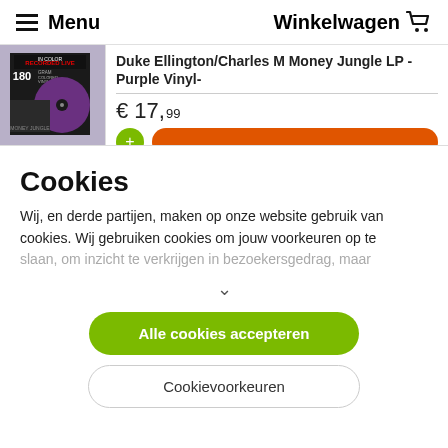☰ Menu   Winkelwagen 🛒
[Figure (screenshot): Product listing for Duke Ellington/Charles M Money Jungle LP - Purple Vinyl showing album cover with 180 gram colored vinyl label and purple disc]
Duke Ellington/Charles M Money Jungle LP - Purple Vinyl-
€ 17,99
Cookies
Wij, en derde partijen, maken op onze website gebruik van cookies. Wij gebruiken cookies om jouw voorkeuren op te slaan, om inzicht te verkrijgen in bezoekersgedrag, maar
Alle cookies accepteren
Cookievoorkeuren